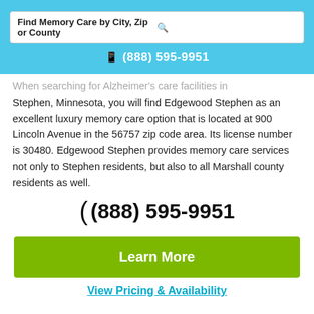Find Memory Care by City, Zip or County
📱 (888) 595-9951
When searching for Alzheimer's care facilities in Stephen, Minnesota, you will find Edgewood Stephen as an excellent luxury memory care option that is located at 900 Lincoln Avenue in the 56757 zip code area. Its license number is 30480. Edgewood Stephen provides memory care services not only to Stephen residents, but also to all Marshall county residents as well.
( (888) 595-9951
Learn More
View Pricing & Availability